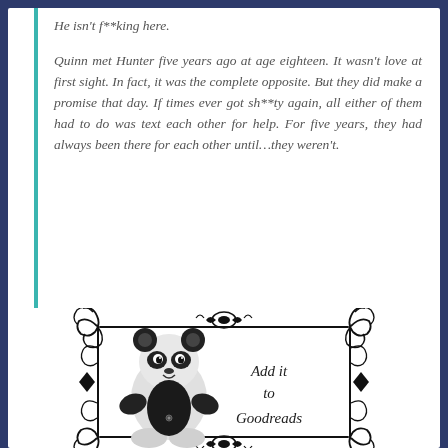He isn't f**king here.
Quinn met Hunter five years ago at age eighteen. It wasn't love at first sight. In fact, it was the complete opposite. But they did make a promise that day. If times ever got sh**ty again, all either of them had to do was text each other for help. For five years, they had always been there for each other until…they weren't.
[Figure (illustration): Decorative ornamental frame with scrollwork borders containing a cute panda illustration on the left and cursive text 'Add it to Goodreads' on the right]